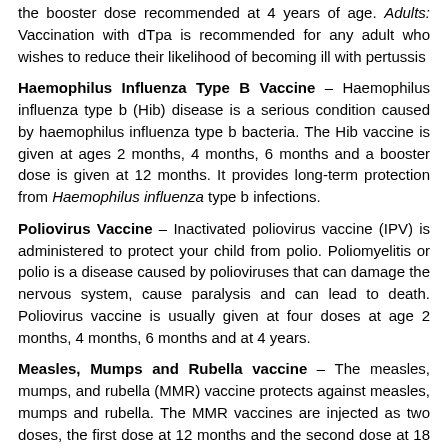the booster dose recommended at 4 years of age. Adults: Vaccination with dTpa is recommended for any adult who wishes to reduce their likelihood of becoming ill with pertussis
Haemophilus Influenza Type B Vaccine – Haemophilus influenza type b (Hib) disease is a serious condition caused by haemophilus influenza type b bacteria. The Hib vaccine is given at ages 2 months, 4 months, 6 months and a booster dose is given at 12 months. It provides long-term protection from Haemophilus influenza type b infections.
Poliovirus Vaccine – Inactivated poliovirus vaccine (IPV) is administered to protect your child from polio. Poliomyelitis or polio is a disease caused by polioviruses that can damage the nervous system, cause paralysis and can lead to death. Poliovirus vaccine is usually given at four doses at age 2 months, 4 months, 6 months and at 4 years.
Measles, Mumps and Rubella vaccine – The measles, mumps, and rubella (MMR) vaccine protects against measles, mumps and rubella. The MMR vaccines are injected as two doses, the first dose at 12 months and the second dose at 18 months.
Varicella Vaccine – Varicella vaccine protects against chicken